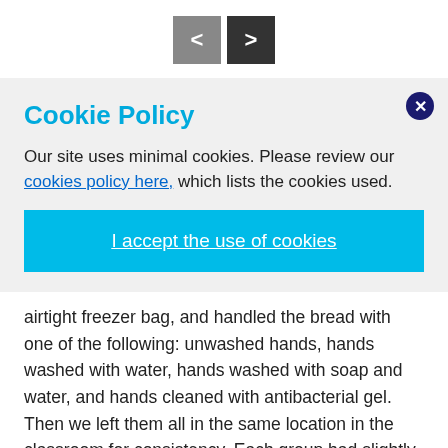[Figure (other): Navigation prev/next buttons (< and >) in gray/dark boxes]
Cookie Policy
Our site uses minimal cookies. Please review our cookies policy here, which lists the cookies used.
I accept the use of cookies
airtight freezer bag, and handled the bread with one of the following: unwashed hands, hands washed with water, hands washed with soap and water, and hands cleaned with antibacterial gel. Then we left them all in the same location in the classroom for consistency. Each group had slightly different results, but generally, the pieces of bread that had been handled by unwashed hands, and hands only washed with water displayed the most mould after